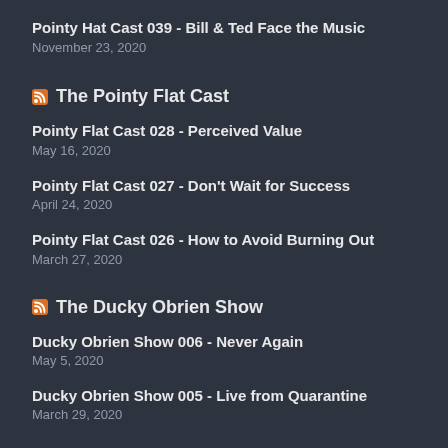Pointy Hat Cast 039 - Bill & Ted Face the Music
November 23, 2020
The Pointy Flat Cast
Pointy Flat Cast 028 - Perceived Value
May 16, 2020
Pointy Flat Cast 027 - Don't Wait for Success
April 24, 2020
Pointy Flat Cast 026 - How to Avoid Burning Out
March 27, 2020
The Ducky Obrien Show
Ducky Obrien Show 006 - Never Again
May 5, 2020
Ducky Obrien Show 005 - Live from Quarantine
March 29, 2020